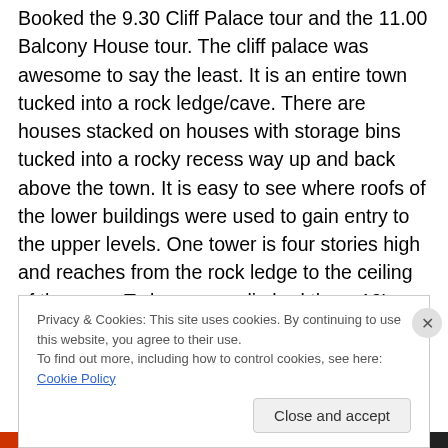Booked the 9.30 Cliff Palace tour and the 11.00 Balcony House tour. The cliff palace was awesome to say the least. It is an entire town tucked into a rock ledge/cave. There are houses stacked on houses with storage bins tucked into a rocky recess way up and back above the town. It is easy to see where roofs of the lower buildings were used to gain entry to the upper levels. One tower is four stories high and reaches from the rock ledge to the ceiling of the cave. To leave, we climbed three 10' ladders up through a crack in the rocks. Beside us we could see some of the small hand and foot holes that the Anasazi used 700 years
Privacy & Cookies: This site uses cookies. By continuing to use this website, you agree to their use.
To find out more, including how to control cookies, see here: Cookie Policy